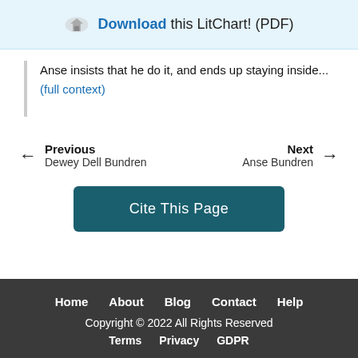Download this LitChart! (PDF)
Anse insists that he do it, and ends up staying inside... (full context)
← Previous Dewey Dell Bundren    Next → Anse Bundren
Cite This Page
Home   About   Blog   Contact   Help   Copyright © 2022 All Rights Reserved   Terms   Privacy   GDPR